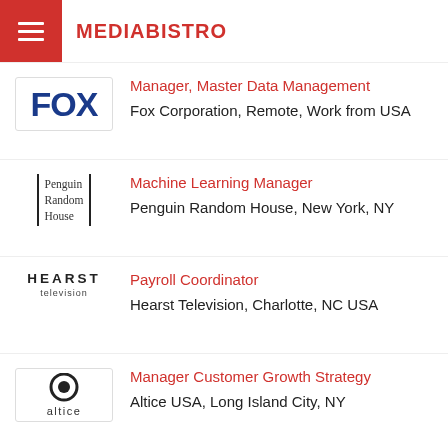MEDIABISTRO
Manager, Master Data Management
Fox Corporation, Remote, Work from USA
Machine Learning Manager
Penguin Random House, New York, NY
Payroll Coordinator
Hearst Television, Charlotte, NC USA
Manager Customer Growth Strategy
Altice USA, Long Island City, NY
Operations Technician
Hearst Television, Needham, MA,